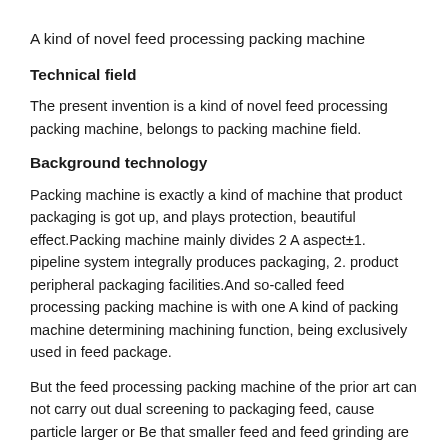A kind of novel feed processing packing machine
Technical field
The present invention is a kind of novel feed processing packing machine, belongs to packing machine field.
Background technology
Packing machine is exactly a kind of machine that product packaging is got up, and plays protection, beautiful effect.Packing machine mainly divides 2 A aspect±1. pipeline system integrally produces packaging, 2. product peripheral packaging facilities.And so-called feed processing packing machine is with one A kind of packing machine determining machining function, being exclusively used in feed package.
But the feed processing packing machine of the prior art can not carry out dual screening to packaging feed, cause particle larger or Be that smaller feed and feed grinding are packed together, influence the quality for packing feed, the practical performance of feed processing packing machine is very much affected.